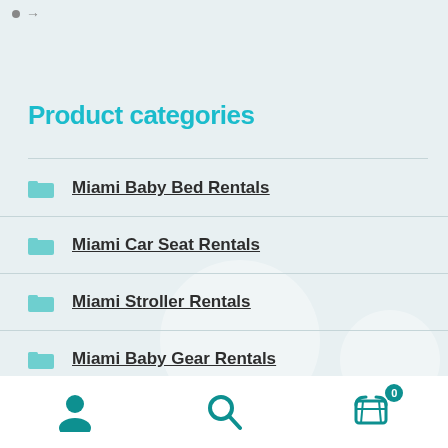• →
Product categories
Miami Baby Bed Rentals
Miami Car Seat Rentals
Miami Stroller Rentals
Miami Baby Gear Rentals
Miami Highchair Rentals
user icon | search icon | cart (0)